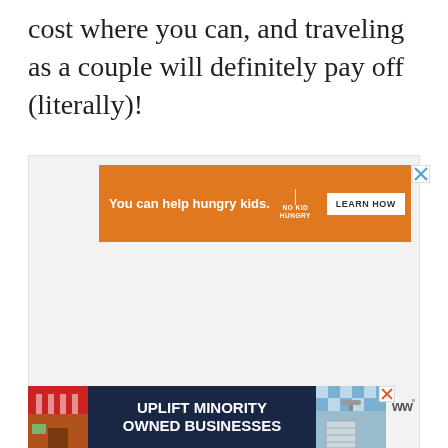cost where you can, and traveling as a couple will definitely pay off (literally)!
[Figure (screenshot): Orange advertisement banner for No Kid Hungry charity: 'You can help hungry kids.' with a fork logo and 'LEARN HOW' button. White X close button in top right corner. Set within a light gray container area.]
[Figure (screenshot): Dark navy blue advertisement for 'UPLIFT MINORITY OWNED BUSINESSES' with illustrated storefront graphics on left and right sides. Red striped awning store on left, blue checkered store on right. White X close button. WW logo with degree symbol to the right.]